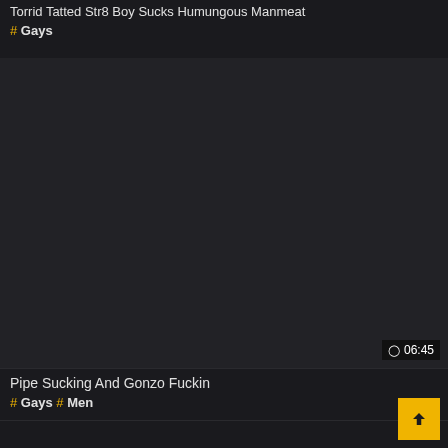Torrid Tatted Str8 Boy Sucks Humungous Manmeat
# Gays
[Figure (photo): Dark video thumbnail area with duration badge showing 06:45]
Pipe Sucking And Gonzo Fuckin
# Gays # Men
[Figure (other): Dark area at bottom with yellow scroll-to-top button]